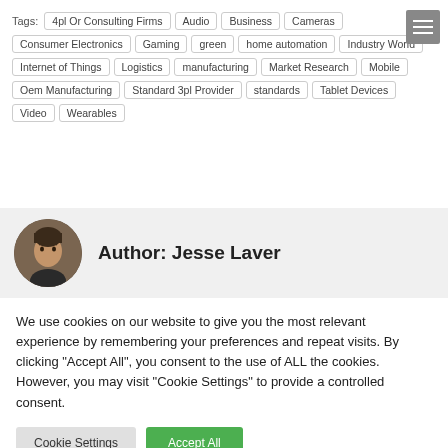Tags: 4pl Or Consulting Firms | Audio | Business | Cameras | Consumer Electronics | Gaming | green | home automation | Industry World | Internet of Things | Logistics | manufacturing | Market Research | Mobile | Oem Manufacturing | Standard 3pl Provider | standards | Tablet Devices | Video | Wearables
Author: Jesse Laver
We use cookies on our website to give you the most relevant experience by remembering your preferences and repeat visits. By clicking "Accept All", you consent to the use of ALL the cookies. However, you may visit "Cookie Settings" to provide a controlled consent.